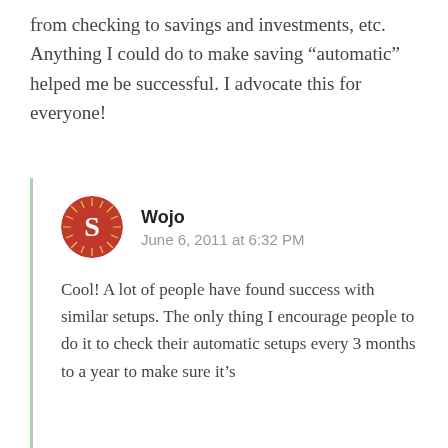from checking to savings and investments, etc. Anything I could do to make saving “automatic” helped me be successful. I advocate this for everyone!
Wojo
June 6, 2011 at 6:32 PM
Cool! A lot of people have found success with similar setups. The only thing I encourage people to do it to check their automatic setups every 3 months to a year to make sure it’s